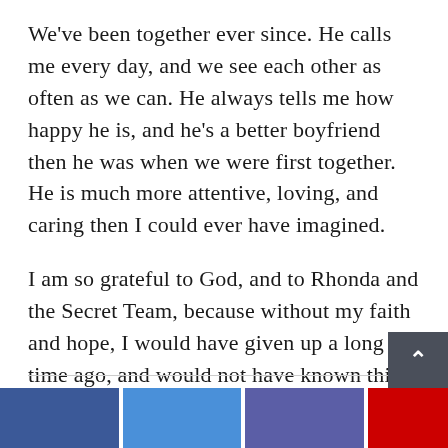We've been together ever since. He calls me every day, and we see each other as often as we can. He always tells me how happy he is, and he's a better boyfriend then he was when we were first together. He is much more attentive, loving, and caring then I could ever have imagined.
I am so grateful to God, and to Rhonda and the Secret Team, because without my faith and hope, I would have given up a long time ago, and would not have known this joy =)